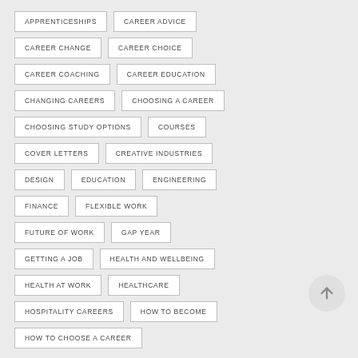APPRENTICESHIPS
CAREER ADVICE
CAREER CHANGE
CAREER CHOICE
CAREER COACHING
CAREER EDUCATION
CHANGING CAREERS
CHOOSING A CAREER
CHOOSING STUDY OPTIONS
COURSES
COVER LETTERS
CREATIVE INDUSTRIES
DESIGN
EDUCATION
ENGINEERING
FINANCE
FLEXIBLE WORK
FUTURE OF WORK
GAP YEAR
GETTING A JOB
HEALTH AND WELLBEING
HEALTH AT WORK
HEALTHCARE
HOSPITALITY CAREERS
HOW TO BECOME
HOW TO CHOOSE A CAREER